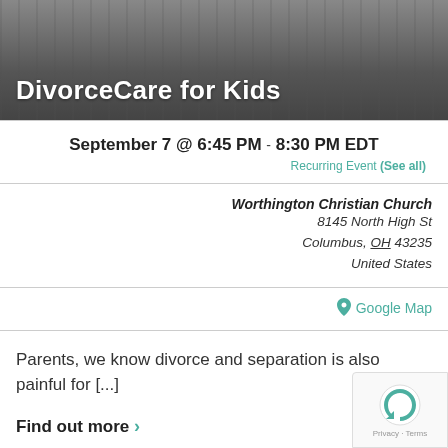[Figure (photo): Banner image with people silhouettes in background, dark overlay]
DivorceCare for Kids
September 7 @ 6:45 PM - 8:30 PM EDT
Recurring Event (See all)
Worthington Christian Church
8145 North High St
Columbus, OH 43235
United States
Google Map
Parents, we know divorce and separation is also painful for [...]
Find out more ›